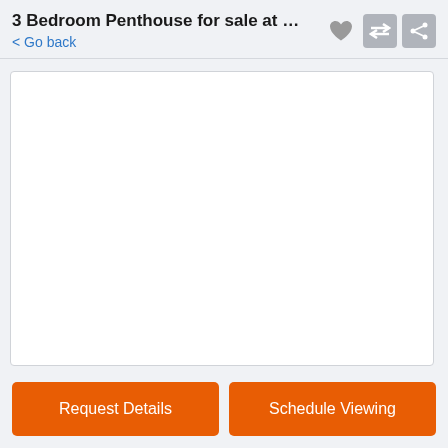3 Bedroom Penthouse for sale at Siam O...
< Go back
[Figure (photo): White empty image box representing a property listing photo placeholder]
Request Details
Schedule Viewing